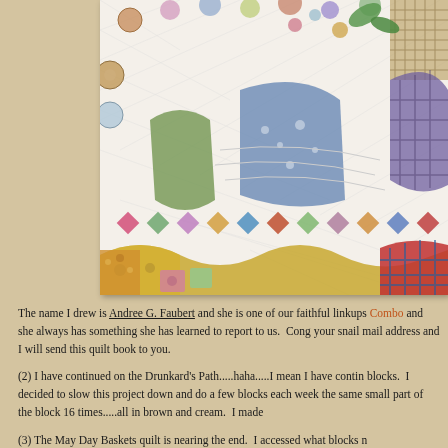[Figure (photo): Close-up photograph of a colorful patchwork quilt showing various fabric patterns including floral, geometric, and plaid designs in multiple colors on a white quilted background with curved borders]
The name I drew is Andree G. Faubert and she is one of our faithful linkups Combo and she always has something she has learned to report to us. Cong your snail mail address and I will send this quilt book to you.
(2) I have continued on the Drunkard's Path.....haha.....I mean I have contin blocks. I decided to slow this project down and do a few blocks each week the same small part of the block 16 times.....all in brown and cream. I made
(3) The May Day Baskets quilt is nearing the end. I accessed what blocks n